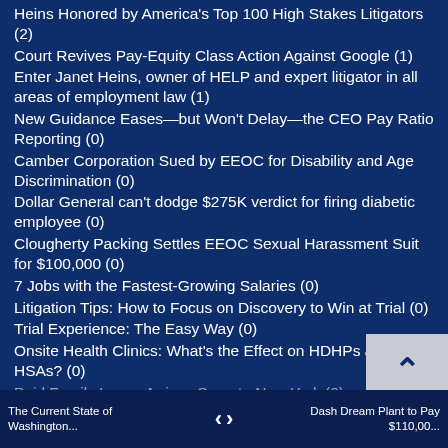Heins Honored by America's Top 100 High Stakes Litigators (2)
Court Revives Pay-Equity Class Action Against Google (1)
Enter Janet Heins, owner of HELP and expert litigator in all areas of employment law (1)
New Guidance Eases—but Won't Delay—the CEO Pay Ratio Reporting (0)
Camber Corporation Sued by EEOC for Disability and Age Discrimination (0)
Dollar General can't dodge $275K verdict for firing diabetic employee (0)
Clougherty Packing Settles EEOC Sexual Harassment Suit for $100,000 (0)
7 Jobs with the Fastest-Growing Salaries (0)
Litigation Tips: How to Focus on Discovery to Win at Trial (0)
Trial Experience: The Easy Way (0)
Onsite Health Clinics: What's the Effect on HDHPs and HSAs? (0)
Paid Family Leave Arrives Soon to New York (0)
The Current State of Washington...   <   >   Dash Dream Plant to Pay $110,00...